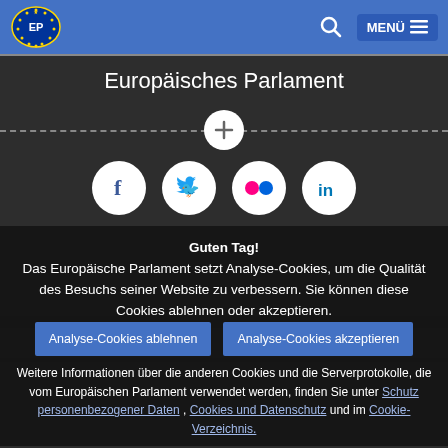Europäisches Parlament — Header with logo, search and menu
Europäisches Parlament
[Figure (illustration): Horizontal dashed divider line with a white circle containing a plus sign in the center]
[Figure (illustration): Four white social media icon circles: Facebook (f), Twitter (bird), Flickr (two dots), LinkedIn (in)]
Guten Tag!
Das Europäische Parlament setzt Analyse-Cookies, um die Qualität des Besuchs seiner Website zu verbessern. Sie können diese Cookies ablehnen oder akzeptieren.
Analyse-Cookies ablehnen   Analyse-Cookies akzeptieren
Weitere Informationen über die anderen Cookies und die Serverprotokolle, die vom Europäischen Parlament verwendet werden, finden Sie unter Schutz personenbezogener Daten , Cookies und Datenschutz und im Cookie-Verzeichnis.